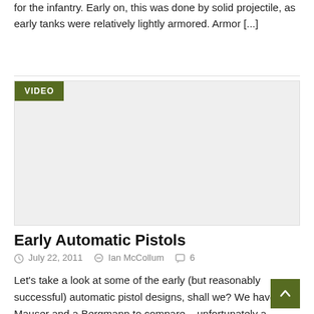for the infantry. Early on, this was done by solid projectile, as early tanks were relatively lightly armored. Armor [...]
[Figure (other): Video embed placeholder block with a dark olive green VIDEO badge in the top-left corner]
Early Automatic Pistols
July 22, 2011   Ian McCollum   6
Let's take a look at some of the early (but reasonably successful) automatic pistol designs, shall we? We have a Mauser and a Bergmann to compare – unfortunately a